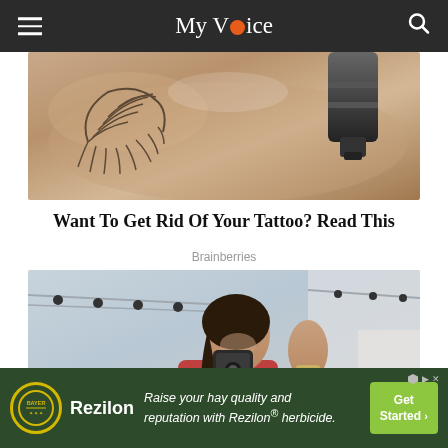My Voice
[Figure (photo): Close-up photo of a tattoo being removed with a laser device on skin]
Want To Get Rid Of Your Tattoo? Read This
Brainberries
[Figure (photo): Woman in red sports bra taking a mirror selfie in a gym, flexing her arm and smiling]
[Figure (infographic): Advertisement for Rezilon herbicide by Bayer: 'Raise your hay quality and reputation with Rezilon® herbicide.' with Get Started button]